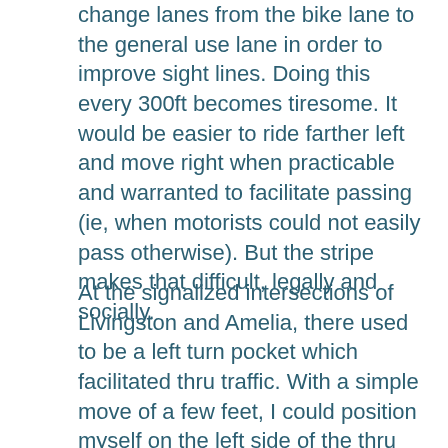change lanes from the bike lane to the general use lane in order to improve sight lines. Doing this every 300ft becomes tiresome. It would be easier to ride farther left and move right when practicable and warranted to facilitate passing (ie, when motorists could not easily pass otherwise). But the stripe makes that difficult, legally and socially.
At the signalized intersections of Livingston and Amelia, there used to be a left turn pocket which facilitated thru traffic. With a simple move of a few feet, I could position myself on the left side of the thru lane to increase my visibility to drivers turning left from the opposing side. After the repave, the striping crew correctly re-striped the turn pockets, ending the bike lane before the intersections. But someone nixed that. The new paint was blacked out, removing the turn pockets, and the bike lanes were striped (with a